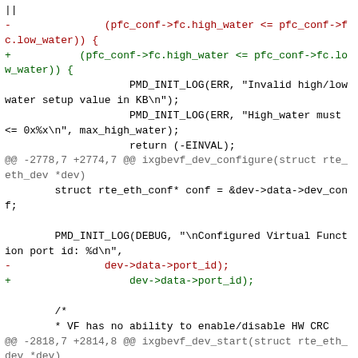|| 
- 			(pfc_conf->fc.high_water <= pfc_conf->fc.low_water)) {
+ 		(pfc_conf->fc.high_water <= pfc_conf->fc.low_water)) {
				PMD_INIT_LOG(ERR, "Invalid high/low water setup value in KB\n");
				PMD_INIT_LOG(ERR, "High_water must <= 0x%x\n", max_high_water);
				return (-EINVAL);
@@ -2778,7 +2774,7 @@ ixgbevf_dev_configure(struct rte_eth_dev *dev)
		struct rte_eth_conf* conf = &dev->data->dev_conf;

		PMD_INIT_LOG(DEBUG, "\nConfigured Virtual Function port id: %d\n",
- 				dev->data->port_id);
+ 					dev->data->port_id);

		/*
		 * VF has no ability to enable/disable HW CRC
@@ -2818,7 +2814,8 @@ ixgbevf_dev_start(struct rte_eth_dev *dev)
		/* This can fail when allocating mbufs for descriptor rings */
		err = ixgbevf_dev_rx_init(dev);
		if (err) {
- 			PMD_INIT_LOG(ERR, "Unable to initialize RX hardware (%d)\n", err);